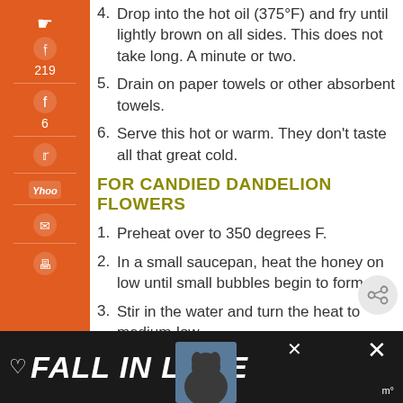4. Drop into the hot oil (375°F) and fry until lightly brown on all sides. This does not take long. A minute or two.
5. Drain on paper towels or other absorbent towels.
6. Serve this hot or warm. They don't taste all that great cold.
FOR CANDIED DANDELION FLOWERS
1. Preheat over to 350 degrees F.
2. In a small saucepan, heat the honey on low until small bubbles begin to form.
3. Stir in the water and turn the heat to medium-low.
4. Heat the mixture until small bubbles
[Figure (other): Social sharing sidebar with Pinterest (219), Facebook (6), Twitter, Yahoo, email, print icons on orange background. Bottom shows 225 SHARES.]
[Figure (other): Advertisement banner at bottom: dark background with heart icon, FALL IN LOVE text, dog photo, close and X buttons.]